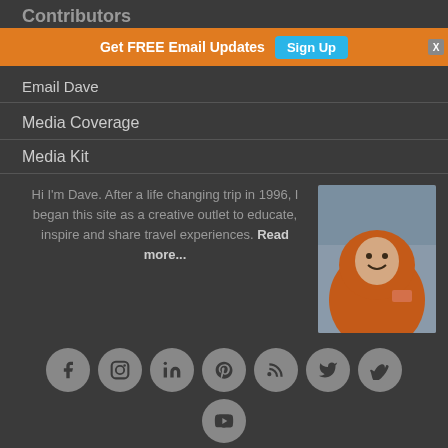Contributors
Get FREE Email Updates Sign Up X
Email Dave
Media Coverage
Media Kit
Hi I'm Dave. After a life changing trip in 1996, I began this site as a creative outlet to educate, inspire and share travel experiences. Read more...
[Figure (photo): Photo of Dave in an orange North Face hooded jacket, outdoors in snowy/cold conditions, smiling]
[Figure (other): Social media icon buttons: Facebook, Instagram, LinkedIn, Pinterest, RSS, Twitter, Vimeo, YouTube]